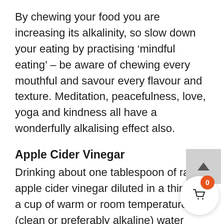By chewing your food you are increasing its alkalinity, so slow down your eating by practising ‘mindful eating’ – be aware of chewing every mouthful and savour every flavour and texture. Meditation, peacefulness, love, yoga and kindness all have a wonderfully alkalising effect also.
Apple Cider Vinegar
Drinking about one tablespoon of raw apple cider vinegar diluted in a third of a cup of warm or room temperature (clean or preferably alkaline) water once a day is a great way to aid digestion and alkalise your body. This stu…